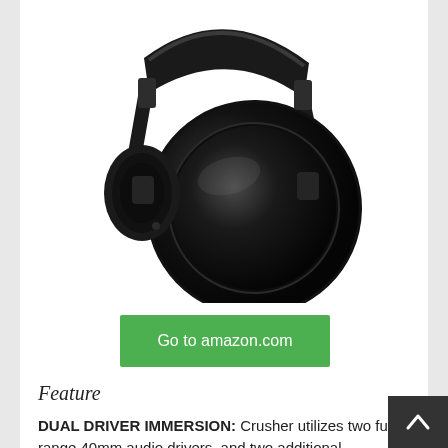[Figure (photo): Black over-ear headphones (Skullcandy Crusher style) shown at an angle, displaying the large circular ear cup and headband against a white background.]
Go to amazon.com
Feature
DUAL DRIVER IMMERSION: Crusher utilizes two full range 40mm audio drivers, and two additional subwoofer drivers that work together to deliver an immersive audio